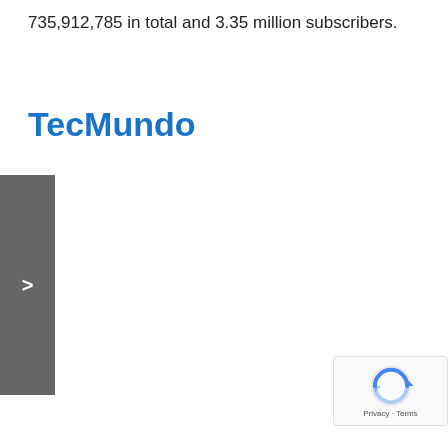735,912,785 in total and 3.35 million subscribers.
TecMundo
[Figure (other): Navigation arrow button on dark grey sidebar]
[Figure (other): Google reCAPTCHA badge with Privacy and Terms links]